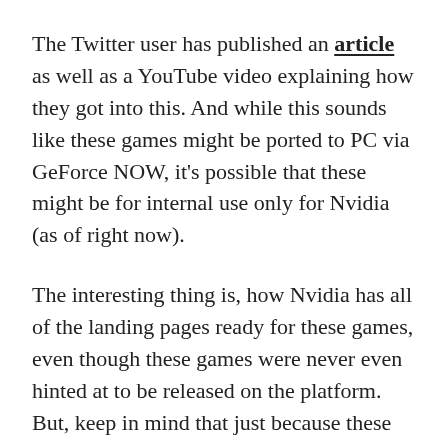The Twitter user has published an article as well as a YouTube video explaining how they got into this. And while this sounds like these games might be ported to PC via GeForce NOW, it's possible that these might be for internal use only for Nvidia (as of right now).
The interesting thing is, how Nvidia has all of the landing pages ready for these games, even though these games were never even hinted at to be released on the platform. But, keep in mind that just because these games have a landing page on GFN doesn't necessarily mean that these are coming out soon.